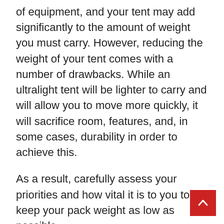of equipment, and your tent may add significantly to the amount of weight you must carry. However, reducing the weight of your tent comes with a number of drawbacks. While an ultralight tent will be lighter to carry and will allow you to move more quickly, it will sacrifice room, features, and, in some cases, durability in order to achieve this.
As a result, carefully assess your priorities and how vital it is to you to keep your pack weight as low as possible.
Durability
There's nothing quite as disappointing as a hiking tent with a split seam in the middle of